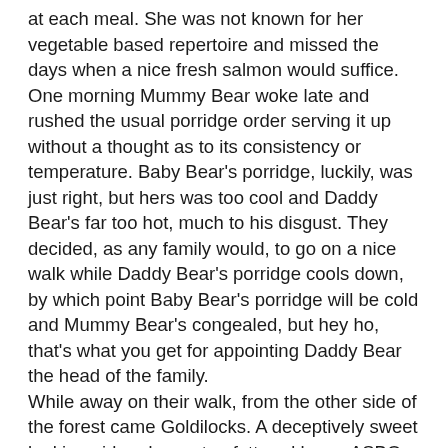at each meal. She was not known for her vegetable based repertoire and missed the days when a nice fresh salmon would suffice. One morning Mummy Bear woke late and rushed the usual porridge order serving it up without a thought as to its consistency or temperature. Baby Bear's porridge, luckily, was just right, but hers was too cool and Daddy Bear's far too hot, much to his disgust. They decided, as any family would, to go on a nice walk while Daddy Bear's porridge cools down, by which point Baby Bear's porridge will be cold and Mummy Bear's congealed, but hey ho, that's what you get for appointing Daddy Bear the head of the family. While away on their walk, from the other side of the forest came Goldilocks. A deceptively sweet looking girl and as yet unfettered by an ASBO, she was allowed to wander freely about the forest. She decided to do a quick break and enter into the Bears' cottage just to see if they lived on that foreign muck that her mother claimed they did. Goldilocks wasn't sure what foreign muck was, or why it made her Mother sniff so loudly when she mentioned it, but she was going to find out. All rather exciting actually. On entering Goldilocks spied the uneaten porridge and